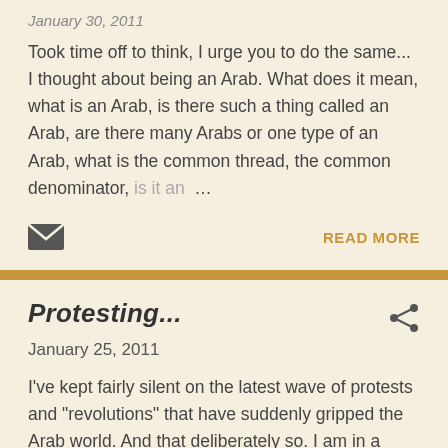January 30, 2011
Took time off to think, I urge you to do the same... I thought about being an Arab. What does it mean, what is an Arab, is there such a thing called an Arab, are there many Arabs or one type of an Arab, what is the common thread, the common denominator, is it an …
READ MORE
Protesting...
January 25, 2011
I've kept fairly silent on the latest wave of protests and "revolutions" that have suddenly gripped the Arab world. And that deliberately so. I am in a waiting period, observing not only the impulsive reactions but more